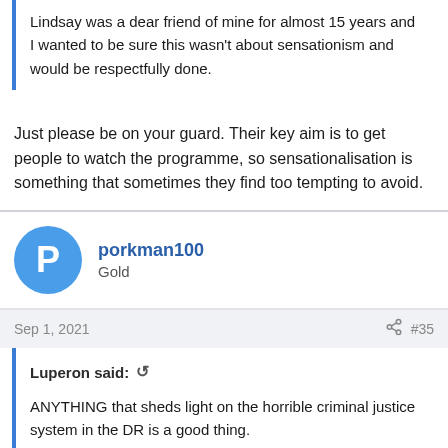Lindsay was a dear friend of mine for almost 15 years and I wanted to be sure this wasn't about sensationism and would be respectfully done.
Just please be on your guard. Their key aim is to get people to watch the programme, so sensationalisation is something that sometimes they find too tempting to avoid.
porkman100
Gold
Sep 1, 2021
#35
Luperon said:
ANYTHING that sheds light on the horrible criminal justice system in the DR is a good thing.
yes lupe..may be the horrible justice system is to blame...may be i